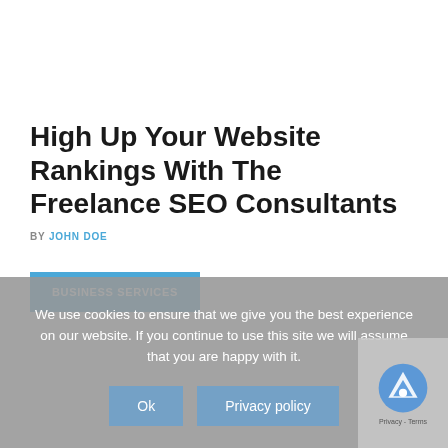High Up Your Website Rankings With The Freelance SEO Consultants
BY JOHN DOE
BUSINESS SERVICES
We use cookies to ensure that we give you the best experience on our website. If you continue to use this site we will assume that you are happy with it.
Ok
Privacy policy